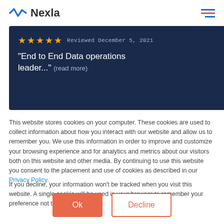Nexla
[Figure (screenshot): Review card with 5 gold stars, date 'Reviewed December 5, 2021', and quote text '"End to End Data operations leader..." (read more)' on dark navy background]
This website stores cookies on your computer. These cookies are used to collect information about how you interact with our website and allow us to remember you. We use this information in order to improve and customize your browsing experience and for analytics and metrics about our visitors both on this website and other media. By continuing to use this website you consent to the placement and use of cookies as described in our Privacy Policy.
If you decline, your information won't be tracked when you visit this website. A single cookie will be used in your browser to remember your preference not to be tracked.